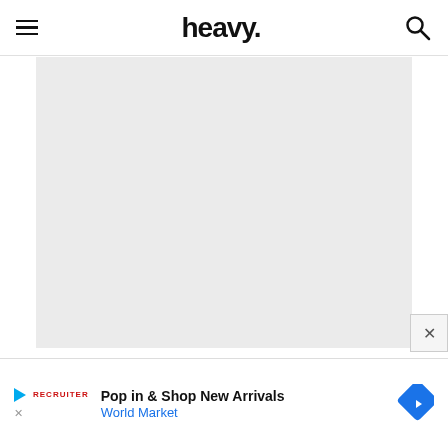heavy. [navigation header with hamburger menu and search icon]
[Figure (other): Large gray placeholder/loading area below the navigation header]
[Figure (screenshot): Advertisement banner: Play icon, Recruiter logo, 'Pop in & Shop New Arrivals', 'World Market' link in blue, blue diamond arrow icon on right, close X button overlay in corner]